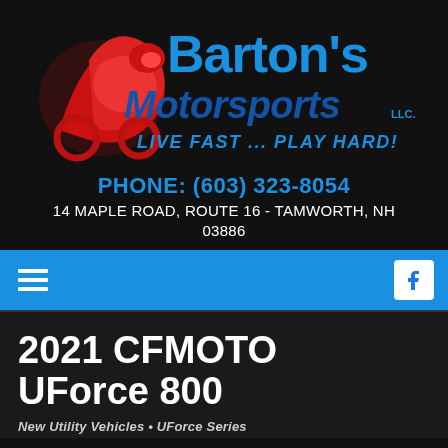[Figure (logo): Barton's Motorsports LLC logo with red motorcycle rider graphic, blue text 'Barton's', dark blue/red 'Motorsports' and tagline 'LIVE FAST ... PLAY HARD!' LLC.]
PHONE: (603) 323-8054
14 MAPLE ROAD, ROUTE 16 - TAMWORTH, NH 03886
[Figure (screenshot): Blue navigation bar with white hamburger menu icon on left and white Facebook icon on right]
2021 CFMOTO UForce 800
New Utility Vehicles • UForce Series